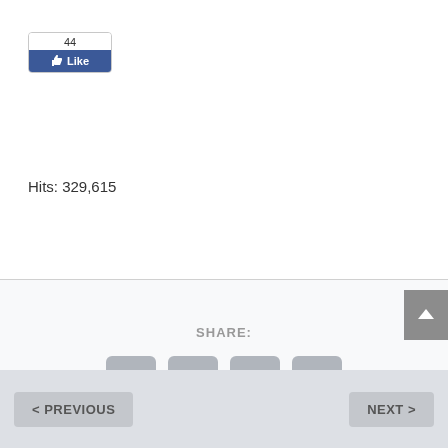[Figure (screenshot): Facebook Like button widget showing count of 44 likes]
Hits: 329,615
SHARE:
[Figure (screenshot): Social share icons: Facebook, Twitter, Email, Print]
[Figure (screenshot): Back to top arrow button (dark gray)]
< PREVIOUS
NEXT >